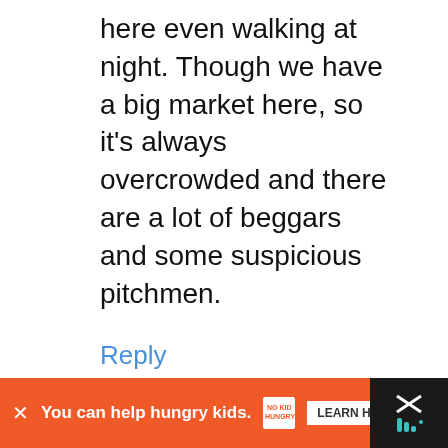here even walking at night. Though we have a big market here, so it's always overcrowded and there are a lot of beggars and some suspicious pitchmen.
Reply
C. the Romanian
June 5, 2018 at 5:36 am
[Figure (infographic): Advertisement bar: orange background with 'You can help hungry kids.' text, No Kid Hungry logo, and LEARN HOW button]
You can help hungry kids. NO KID HUNGRY LEARN HOW